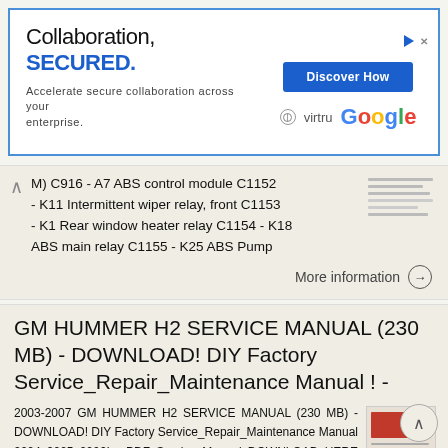[Figure (screenshot): Advertisement banner for Virtru/Google collaboration security product. Text: 'Collaboration, SECURED. Accelerate secure collaboration across your enterprise.' with 'Discover How' button, Virtru and Google logos.]
M) C916 - A7 ABS control module C1152 - K11 Intermittent wiper relay, front C1153 - K1 Rear window heater relay C1154 - K18 ABS main relay C1155 - K25 ABS Pump
More information →
GM HUMMER H2 SERVICE MANUAL (230 MB) - DOWNLOAD! DIY Factory Service_Repair_Maintenance Manual ! -
2003-2007 GM HUMMER H2 SERVICE MANUAL (230 MB) - DOWNLOAD! DIY Factory Service_Repair_Maintenance Manual 2004 2005 2006! - PDF Service Manual DOWNLOAD HERE "2003-2007 GM HUMMER H2 SERVICE MANUAL (230 MB)